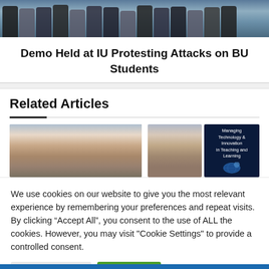[Figure (photo): Group photo of people standing together outdoors, many wearing face masks]
Demo Held at IU Protesting Attacks on BU Students
Related Articles
[Figure (photo): Close-up face portrait photo (left thumbnail in related articles)]
[Figure (photo): Portrait photo of man with glasses and book cover for Managing Technology & Innovation in Teaching and Learning (right thumbnails in related articles)]
We use cookies on our website to give you the most relevant experience by remembering your preferences and repeat visits. By clicking “Accept All”, you consent to the use of ALL the cookies. However, you may visit "Cookie Settings" to provide a controlled consent.